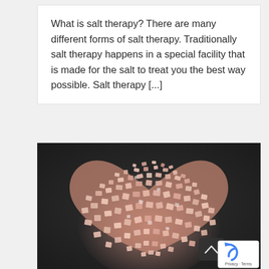What is salt therapy? There are many different forms of salt therapy. Traditionally salt therapy happens in a special facility that is made for the salt to treat you the best way possible. Salt therapy [...]
[Figure (photo): A heart shape made of pink Himalayan salt crystals arranged on a dark slate background, with a scroll-up button and reCAPTCHA badge overlaid in the bottom-right corner.]